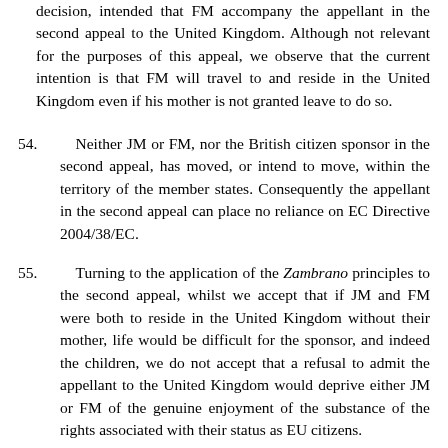decision, intended that FM accompany the appellant in the second appeal to the United Kingdom. Although not relevant for the purposes of this appeal, we observe that the current intention is that FM will travel to and reside in the United Kingdom even if his mother is not granted leave to do so.
54. Neither JM or FM, nor the British citizen sponsor in the second appeal, has moved, or intend to move, within the territory of the member states. Consequently the appellant in the second appeal can place no reliance on EC Directive 2004/38/EC.
55. Turning to the application of the Zambrano principles to the second appeal, whilst we accept that if JM and FM were both to reside in the United Kingdom without their mother, life would be difficult for the sponsor, and indeed the children, we do not accept that a refusal to admit the appellant to the United Kingdom would deprive either JM or FM of the genuine enjoyment of the substance of the rights associated with their status as EU citizens.